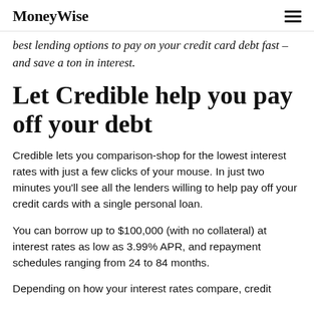MoneyWise
best lending options to pay on your credit card debt fast – and save a ton in interest.
Let Credible help you pay off your debt
Credible lets you comparison-shop for the lowest interest rates with just a few clicks of your mouse. In just two minutes you'll see all the lenders willing to help pay off your credit cards with a single personal loan.
You can borrow up to $100,000 (with no collateral) at interest rates as low as 3.99% APR, and repayment schedules ranging from 24 to 84 months.
Depending on how your interest rates compare, credit